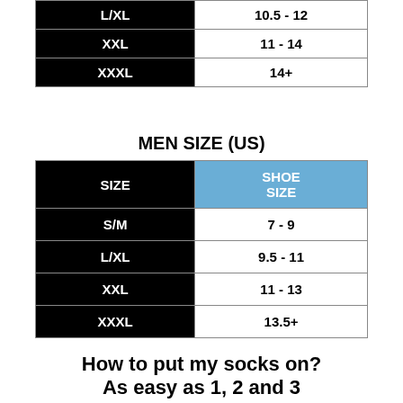| SIZE | SHOE SIZE |
| --- | --- |
| L/XL | 10.5 - 12 |
| XXL | 11 - 14 |
| XXXL | 14+ |
MEN SIZE (US)
| SIZE | SHOE SIZE |
| --- | --- |
| S/M | 7 - 9 |
| L/XL | 9.5 - 11 |
| XXL | 11 - 13 |
| XXXL | 13.5+ |
How to put my socks on? As easy as 1, 2 and 3